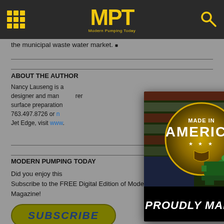MPT Modern Pumping Today
the municipal waste water market. ■
ABOUT THE AUTHOR
Nancy Lauseng is a designer and manufacturer of waterjet cutting, surface preparation systems. Contact at 763.497.8726 or n... For more about Jet Edge, visit www...
MODERN PUMPING TODAY
Did you enjoy this article? Subscribe to the FREE Digital Edition of Modern Pumping Today Magazine!
[Figure (advertisement): Vaughan Pumps advertisement - Made in America badge with green industrial pumps. Text: PROUDLY MADE IN THE USA. EXPLORE THE PUMPS.]
SUBSCRIBE